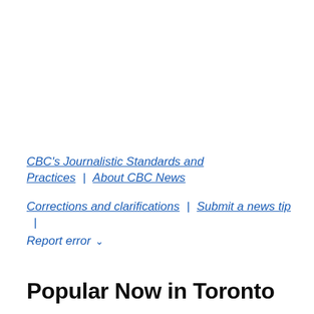CBC's Journalistic Standards and Practices | About CBC News
Corrections and clarifications | Submit a news tip | Report error ▾
Popular Now in Toronto